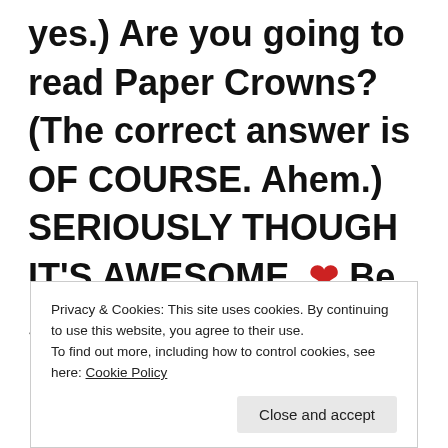yes.) Are you going to read Paper Crowns? (The correct answer is OF COURSE. Ahem.) SERIOUSLY THOUGH IT'S AWESOME. ❤ Be sure to check out the rest of the blog tour
Privacy & Cookies: This site uses cookies. By continuing to use this website, you agree to their use. To find out more, including how to control cookies, see here: Cookie Policy
Close and accept